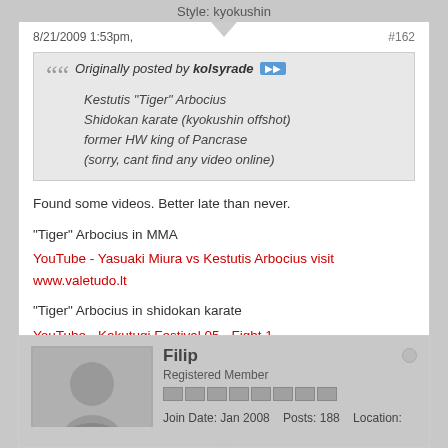Style: kyokushin
8/21/2009 1:53pm,
#162
Originally posted by kolsyrade
Kestutis "Tiger" Arbocius
Shidokan karate (kyokushin offshot)
former HW king of Pancrase
(sorry, cant find any video online)
Found some videos. Better late than never.
"Tiger" Arbocius in MMA
YouTube - Yasuaki Miura vs Kestutis Arbocius visit www.valetudo.lt
"Tiger" Arbocius in shidokan karate
YouTube - Kakutugi Festival 05 - Fight 1
Filip
Registered Member
Join Date: Jan 2008  Posts: 188  Location: Belgium
Style: Karate